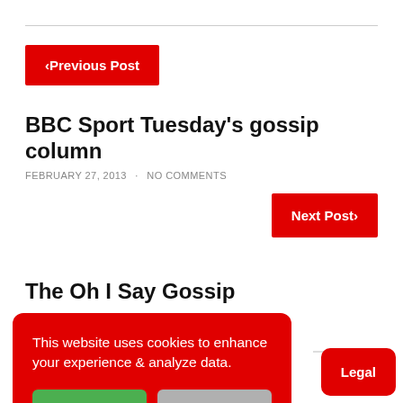< Previous Post
BBC Sport Tuesday's gossip column
FEBRUARY 27, 2013 · NO COMMENTS
Next Post›
The Oh I Say Gossip
This website uses cookies to enhance your experience & analyze data.
Accept
Decline
Legal